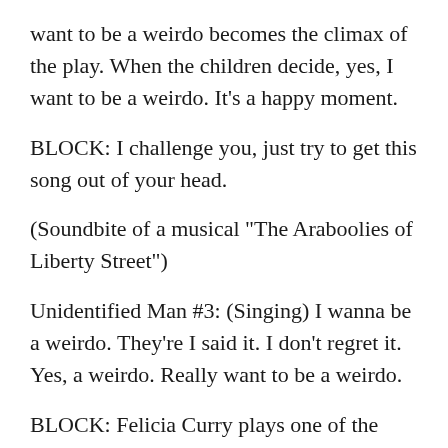want to be a weirdo becomes the climax of the play. When the children decide, yes, I want to be a weirdo. It's a happy moment.
BLOCK: I challenge you, just try to get this song out of your head.
(Soundbite of a musical "The Araboolies of Liberty Street")
Unidentified Man #3: (Singing) I wanna be a weirdo. They're I said it. I don't regret it. Yes, a weirdo. Really want to be a weirdo.
BLOCK: Felicia Curry plays one of the weirdoes. She's a young Araboolie.
Ms. FELICIA CURRY (Actor): The beauty of this story is if